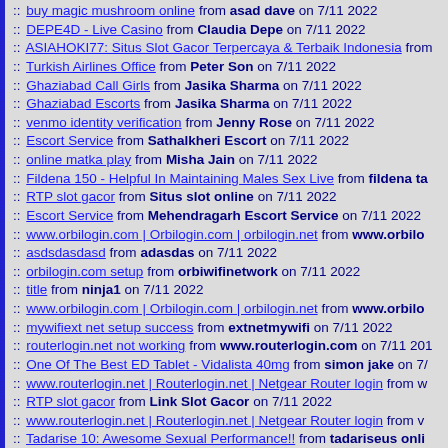:: buy magic mushroom online from asad dave on 7/11 2022
:: DEPE4D - Live Casino from Claudia Depe on 7/11 2022
:: ASIAHOKI77: Situs Slot Gacor Terpercaya & Terbaik Indonesia from
:: Turkish Airlines Office from Peter Son on 7/11 2022
:: Ghaziabad Call Girls from Jasika Sharma on 7/11 2022
:: Ghaziabad Escorts from Jasika Sharma on 7/11 2022
:: venmo identity verification from Jenny Rose on 7/11 2022
:: Escort Service from Sathalkheri Escort on 7/11 2022
:: online matka play from Misha Jain on 7/11 2022
:: Fildena 150 - Helpful In Maintaining Males Sex Live from fildena ta
:: RTP slot gacor from Situs slot online on 7/11 2022
:: Escort Service from Mehendragarh Escort Service on 7/11 2022
:: www.orbilogin.com | Orbilogin.com | orbilogin.net from www.orbilo
:: asdsdasdasd from adasdas on 7/11 2022
:: orbilogin.com setup from orbiwifinetwork on 7/11 2022
:: title from ninja1 on 7/11 2022
:: www.orbilogin.com | Orbilogin.com | orbilogin.net from www.orbilo
:: mywifiext net setup success from extnetmywifi on 7/11 2022
:: routerlogin.net not working from www.routerlogin.com on 7/11 201
:: One Of The Best ED Tablet - Vidalista 40mg from simon jake on 7/
:: www.routerlogin.net | Routerlogin.net | Netgear Router login from w
:: RTP slot gacor from Link Slot Gacor on 7/11 2022
:: www.routerlogin.net | Routerlogin.net | Netgear Router login from v
:: Tadarise 10: Awesome Sexual Performance!! from tadariseus onli
:: jaipur from jaipur on 7/11 2022
:: router login netgear not working from routerloginnet on 7/11 2022
:: bali tour from bali tour on 7/11 2022
:: www.routerlogin.net | Routerlogin.net | Netgear Router login from N
:: orbilogin.com from orbilogin.com on 7/11 2022
:: nighthawk router login admin from nighthawkroutersetup on 7/11
:: Vidalista 60 - Great sexual climax... from ED inc